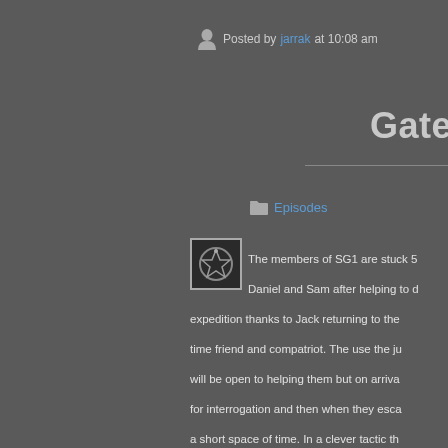Posted by jarrak at 10:08 am
Gatecas
Episodes
[Figure (photo): Small thumbnail image showing a Stargate symbol/glyph on a dark background, bordered with a light frame]
The members of SG1 are stuck 5... Daniel and Sam after helping to d... expedition thanks to Jack returning to the... time friend and compatriot. The use the ju... will be open to helping them but on arriva... for interrogation and then when they esca... a short space of time. In a clever tactic th... use the gate to travel to Earth and they a... they did not fare very well. Only Daniel su... SG1 to rally the natives to rebel...